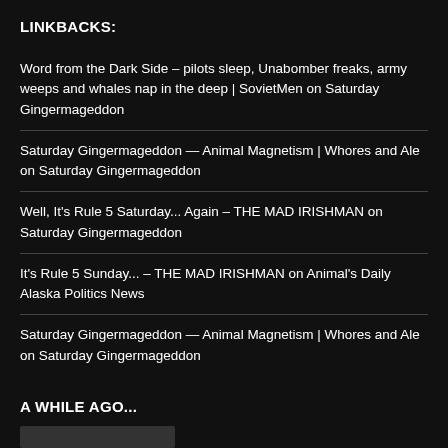LINKBACKS:
Word from the Dark Side – pilots sleep, Unabomber freaks, army weeps and whales nap in the deep | SovietMen on Saturday Gingermageddon
Saturday Gingermageddon — Animal Magnetism | Whores and Ale on Saturday Gingermageddon
Well, It's Rule 5 Saturday... Again – THE MAD IRISHMAN on Saturday Gingermageddon
It's Rule 5 Sunday... – THE MAD IRISHMAN on Animal's Daily Alaska Politics News
Saturday Gingermageddon — Animal Magnetism | Whores and Ale on Saturday Gingermageddon
A WHILE AGO...